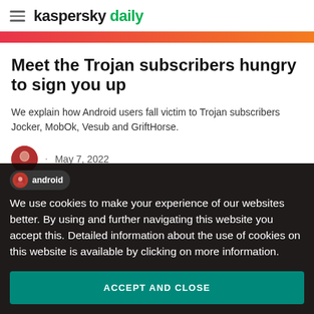kaspersky daily
Meet the Trojan subscribers hungry to sign you up
We explain how Android users fall victim to Trojan subscribers Jocker, MobOk, Vesub and GriftHorse.
May 7, 2022
android
We use cookies to make your experience of our websites better. By using and further navigating this website you accept this. Detailed information about the use of cookies on this website is available by clicking on more information.
ACCEPT AND CLOSE